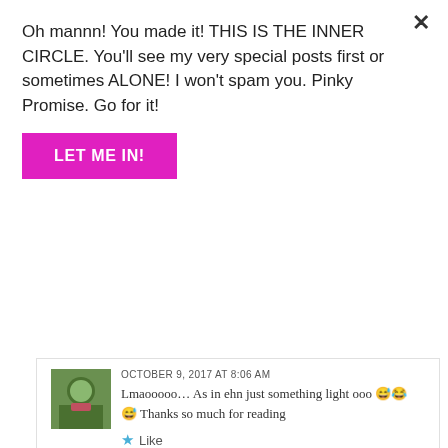Oh mannn! You made it! THIS IS THE INNER CIRCLE. You'll see my very special posts first or sometimes ALONE! I won't spam you. Pinky Promise. Go for it!
LET ME IN!
OCTOBER 9, 2017 AT 8:06 AM
Lmaooooo… As in ehn just something light ooo 😅😂😅 Thanks so much for reading
Like
REPLY
catherineezenwammadu says:
OCTOBER 8, 2017 AT 8:36 PM
Hahaha. I didn't expect the sound message at the end, thanks for this story.
Liked by 1 person